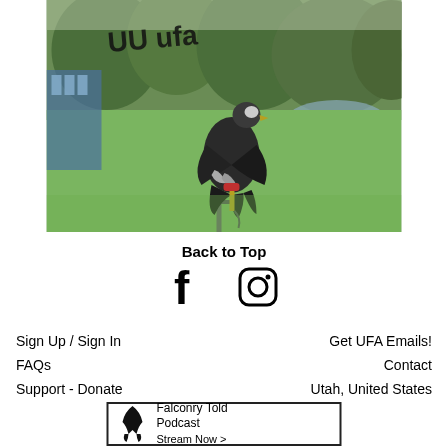[Figure (photo): A large dark bird (eagle or hawk) perched on a post/stake in a grassy park area with trees and a blue structure in background. Text overlay 'UU ufa' in handwritten style at top left of photo.]
Back to Top
[Figure (infographic): Facebook and Instagram social media icons side by side]
Sign Up / Sign In
Get UFA Emails!
FAQs
Contact
Support - Donate
Utah, United States
[Figure (infographic): Falconry Told Podcast box with bird claw logo and text 'Falconry Told Podcast Stream Now >']